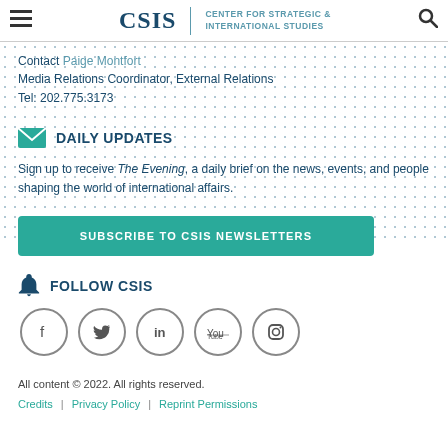CSIS | CENTER FOR STRATEGIC & INTERNATIONAL STUDIES
Contact Paige Montfort
Media Relations Coordinator, External Relations
Tel: 202.775.3173
DAILY UPDATES
Sign up to receive The Evening, a daily brief on the news, events, and people shaping the world of international affairs.
SUBSCRIBE TO CSIS NEWSLETTERS
FOLLOW CSIS
[Figure (infographic): Social media icons in circles: Facebook, Twitter, LinkedIn, YouTube, Instagram]
All content © 2022. All rights reserved.
Credits  |  Privacy Policy  |  Reprint Permissions